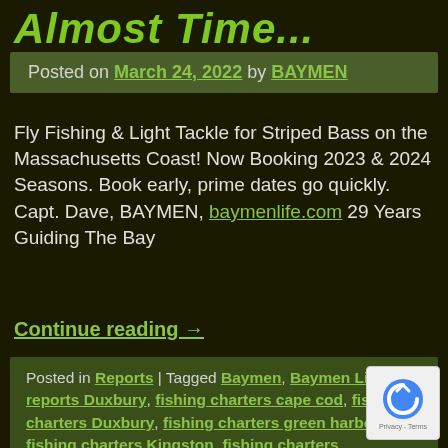Almost Time...
Posted on March 24, 2022 by BAYMEN
Fly Fishing & Light Tackle for Striped Bass on the Massachusetts Coast! Now Booking 2023 & 2024 Seasons. Book early, prime dates go quickly. Capt. Dave, BAYMEN, baymenlife.com 29 Years Guiding The Bay
Continue reading →
Posted in Reports | Tagged Baymen, Baymen Life, fish reports Duxbury, fishing charters cape cod, fishing charters Duxbury, fishing charters green harbor, fishing charters Kingston, fishing charters marshfield, fishing charters south shore, fishing reports Cape Cod, fishing reports Massachusetts, fishing reports plymouth, fly fishing guides Duxbury, fly fishing guides plymouth, fly fishing guides south shore, fly